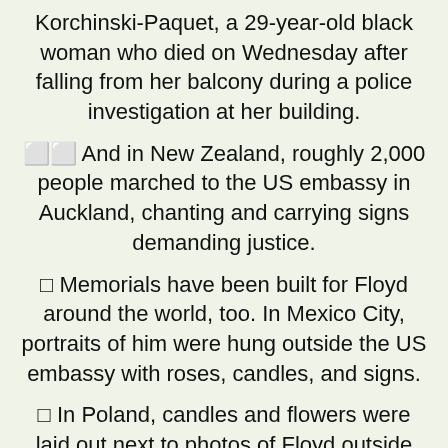Korchinski-Paquet, a 29-year-old black woman who died on Wednesday after falling from her balcony during a police investigation at her building.
🟩 And in New Zealand, roughly 2,000 people marched to the US embassy in Auckland, chanting and carrying signs demanding justice.
🟩 Memorials have been built for Floyd around the world, too. In Mexico City, portraits of him were hung outside the US embassy with roses, candles, and signs.
🟩 In Poland, candles and flowers were laid out next to photos of Floyd outside the US consulate.
🟩 And in Syria, two artists created a mural depicting Floyd in the northwestern town of Binnish, "on a wall destroyed by military planes."